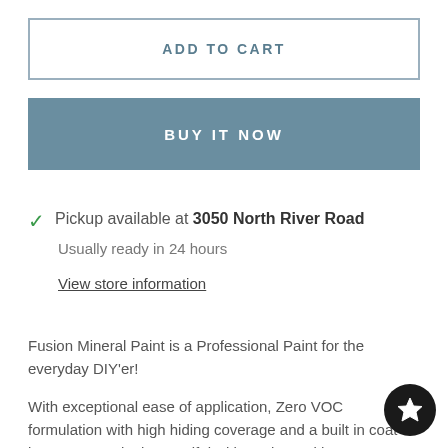ADD TO CART
BUY IT NOW
Pickup available at 3050 North River Road
Usually ready in 24 hours
View store information
Fusion Mineral Paint is a Professional Paint for the everyday DIY'er!
With exceptional ease of application, Zero VOC formulation with high hiding coverage and a built in coat it's easy to Paint it Beautiful with Fusion! With